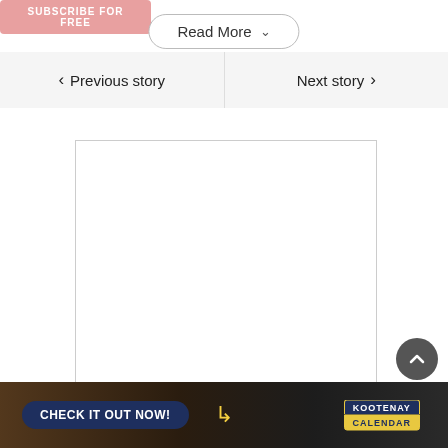[Figure (screenshot): Subscribe for free button (pink/salmon colored banner)]
Read More
Previous story
Next story
[Figure (other): Empty advertisement box with border]
[Figure (other): Scroll to top circular button]
[Figure (other): Kootenay Calendar banner ad: CHECK IT OUT NOW! with concert crowd background and Kootenay Calendar logo]